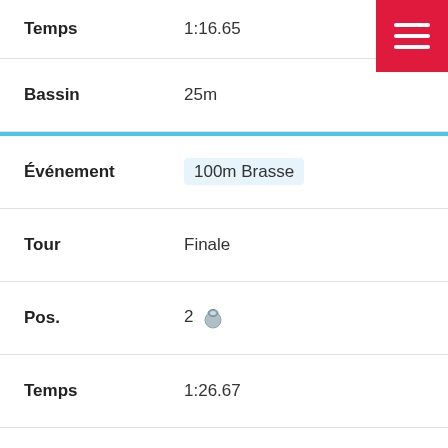Temps: 1:16.65
Bassin: 25m
Événement: 100m Brasse
Tour: Finale
Pos.: 2 🥈
Temps: 1:26.67
Bassin: 25m
Événement: 50m Papillon
Tour: Finale